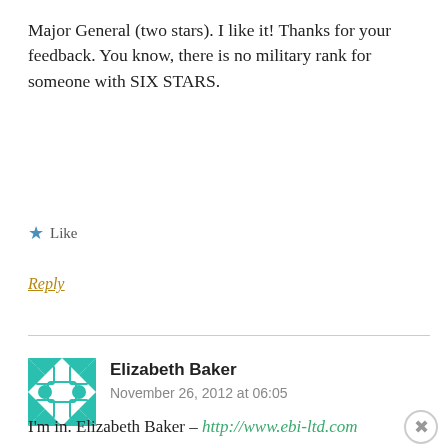Major General (two stars). I like it! Thanks for your feedback. You know, there is no military rank for someone with SIX STARS.
★ Like
Reply
Elizabeth Baker
November 26, 2012 at 06:05
I'm in. Elizabeth Baker – http://www.ebi-ltd.com
Advertisements